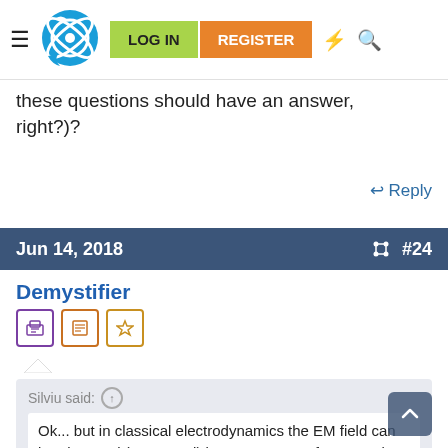LOG IN  REGISTER
these questions should have an answer, right?)?
↩ Reply
Jun 14, 2018   #24
Demystifier
Silviu said: ↑
Ok... but in classical electrodynamics the EM field can be observed (measured) i.e. you can see for example the effect of E and B on a test charge. But I still don't see what is... How can you measur...